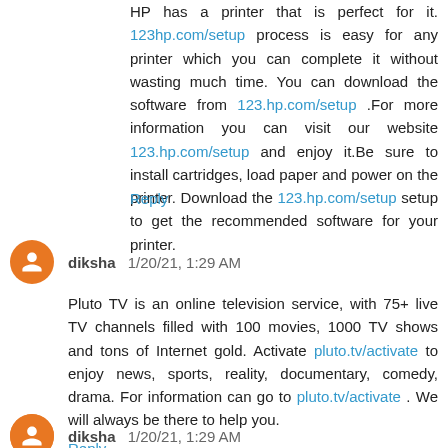HP has a printer that is perfect for it. 123hp.com/setup process is easy for any printer which you can complete it without wasting much time. You can download the software from 123.hp.com/setup .For more information you can visit our website 123.hp.com/setup and enjoy it.Be sure to install cartridges, load paper and power on the printer. Download the 123.hp.com/setup setup to get the recommended software for your printer.
Reply
diksha 1/20/21, 1:29 AM
Pluto TV is an online television service, with 75+ live TV channels filled with 100 movies, 1000 TV shows and tons of Internet gold. Activate pluto.tv/activate to enjoy news, sports, reality, documentary, comedy, drama. For information can go to pluto.tv/activate . We will always be there to help you.
Reply
diksha 1/20/21, 1:29 AM